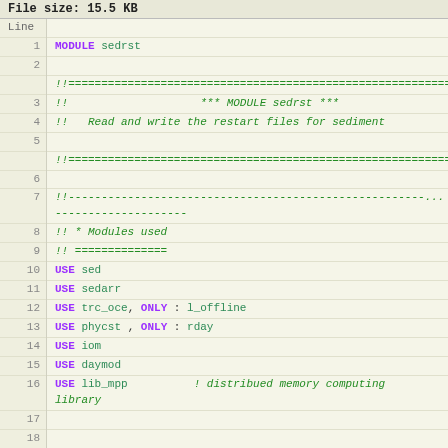File size: 15.5 KB
| Line | Code |
| --- | --- |
| 1 | MODULE sedrst |
| 2 |  |
|  | !!=====================================================... |
| 3 | !!                    *** MODULE sedrst *** |
| 4 | !!   Read and write the restart files for sediment |
| 5 |  |
|  | !!=====================================================... |
| 6 |  |
| 7 | !!--------------------------------------------... |
| 8 | !! * Modules used |
| 9 | !! ============== |
| 10 | USE sed |
| 11 | USE sedarr |
| 12 | USE trc_oce, ONLY : l_offline |
| 13 | USE phycst , ONLY : rday |
| 14 | USE iom |
| 15 | USE daymod |
| 16 | USE lib_mpp          ! distribued memory computing library |
| 17 |  |
| 18 |  |
| 19 | !! * Accessibility |
| 20 | IMPLICIT NONE |
| 21 | PRIVATE |
| 22 |  |
| 23 | !! * Accessibility |
| 24 | PUBLIC sed_rst_opn       ! called by ??? |
| 25 | PUBLIC sed_rst_read |
| 26 | PUBLIC sed_rst_wri |
| 27 | PUBLIC sed_rst_cal |